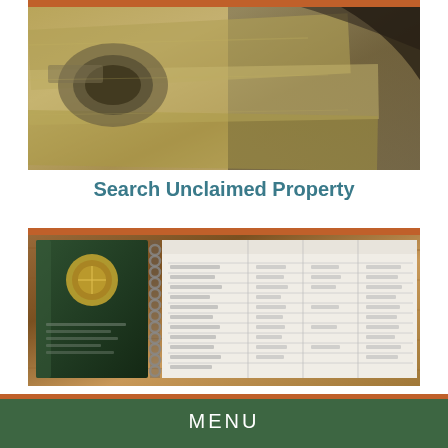[Figure (photo): Close-up photograph of US dollar bills, showing the green and gold tones of paper currency, with a rust/orange border on top]
Search Unclaimed Property
[Figure (photo): Photograph of an open spiral-bound ledger/accounting book with a dark green cover showing a gold seal, placed on a wooden surface, with columnar data pages visible]
Financial Transparency
The Treasurer's Office is committed to providing key data and information about its operations.
[Figure (photo): Partial photograph at bottom of page, appears to be a map or document]
MENU